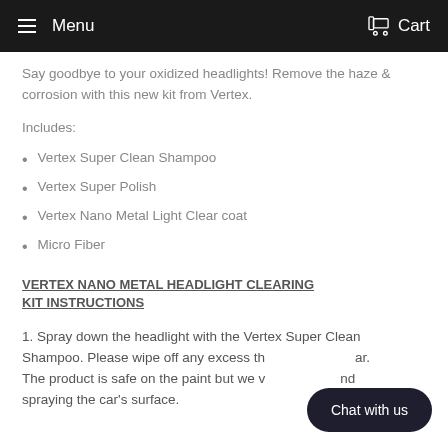Menu   Cart
Say goodbye to your oxidized headlights! Remove the haze & corrosion with this new kit from Vertex.
Includes:
Vertex Super Clean Shampoo
Vertex Super Polish
Vertex Nano Metal Light Clear coat
Micro Fiber
VERTEX NANO METAL HEADLIGHT CLEARING KIT INSTRUCTIONS
1. Spray down the headlight with the Vertex Super Clean Shampoo. Please wipe off any excess th... ar. The product is safe on the paint but we w... nd spraying the car's surface.